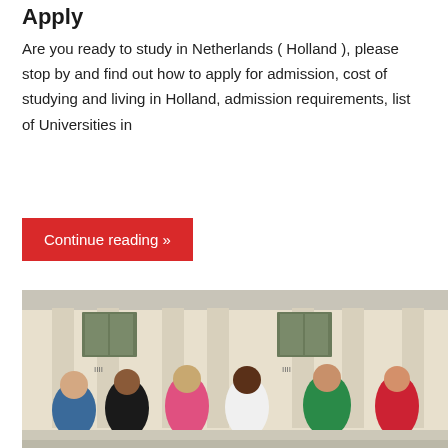Apply
Are you ready to study in Netherlands ( Holland ), please stop by and find out how to apply for admission, cost of studying and living in Holland, admission requirements, list of Universities in
Continue reading »
[Figure (photo): Group of six diverse university students sitting on steps in front of a classical building with columns, chatting and smiling.]